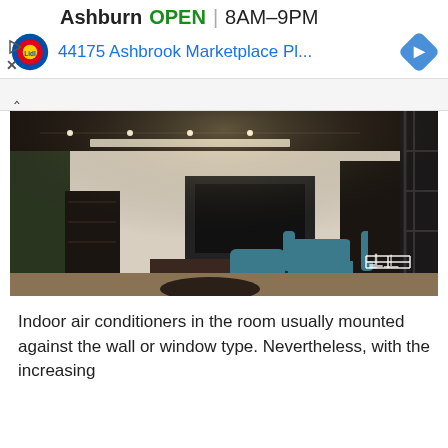[Figure (screenshot): Google ad banner showing Lidl store in Ashburn, OPEN 8AM-9PM, address 44175 Ashbrook Marketplace Pl..., with Lidl logo, navigation diamond icon, play and close buttons]
[Figure (photo): Interior photo of a modern luxury living room with open-plan layout, ceiling-mounted AC unit, TV mounted on dark wall, teal accent chairs, plant, dark shelving, and a logo watermark in bottom right corner]
Indoor air conditioners in the room usually mounted against the wall or window type. Nevertheless, with the increasing